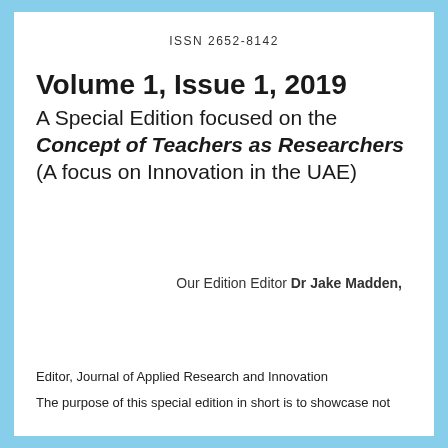ISSN 2652-8142
Volume 1, Issue 1, 2019
A Special Edition focused on the Concept of Teachers as Researchers (A focus on Innovation in the UAE)
Our Edition Editor Dr Jake Madden,
Editor, Journal of Applied Research and Innovation
The purpose of this special edition in short is to showcase not